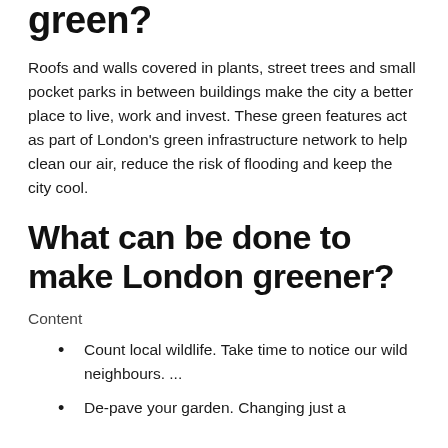green?
Roofs and walls covered in plants, street trees and small pocket parks in between buildings make the city a better place to live, work and invest. These green features act as part of London's green infrastructure network to help clean our air, reduce the risk of flooding and keep the city cool.
What can be done to make London greener?
Content
Count local wildlife. Take time to notice our wild neighbours. ...
De-pave your garden. Changing just a